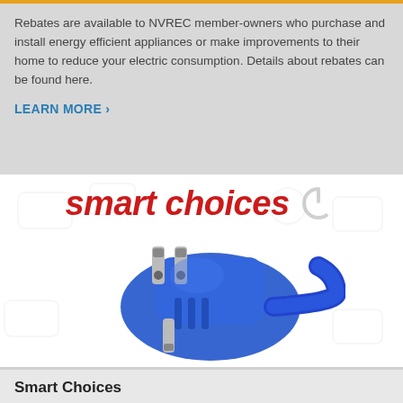Rebates are available to NVREC member-owners who purchase and install energy efficient appliances or make improvements to their home to reduce your electric consumption. Details about rebates can be found here.
LEARN MORE >
[Figure (illustration): Smart Choices logo with red italic bold text 'smart choices' and a gray power button icon, above a photo of a blue electrical plug/connector.]
Smart Choices